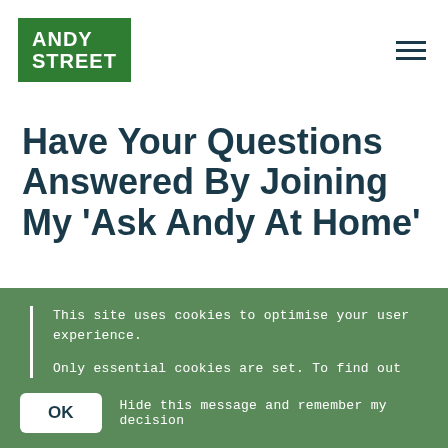[Figure (logo): Andy Street logo — white text on dark green background, two lines: ANDY / STREET]
Have Your Questions Answered By Joining My ‘Ask Andy At Home’
This site uses cookies to optimise your user experience.
Only essential cookies are set. To find out more, including how to opt out, please visit the Cookies page.
OK   Hide this message and remember my decision